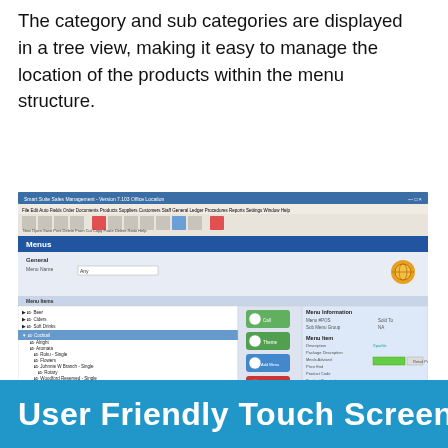The category and sub categories are displayed in a tree view, making it easy to manage the location of the products within the menu structure.
[Figure (screenshot): Screenshot of Smart Suite Sales Management software showing a Menus module with a tree view of menu categories and sub-categories on the left panel, and Menu Information and Menu Item details on the right panel.]
User Friendly Touch Screen